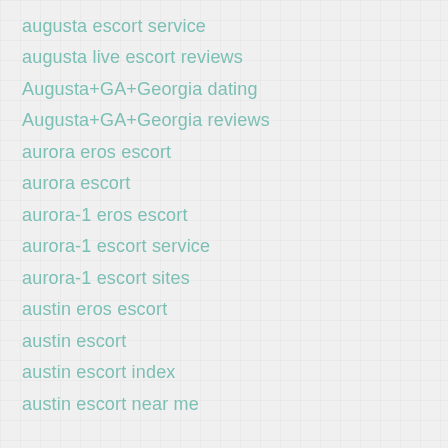augusta escort service
augusta live escort reviews
Augusta+GA+Georgia dating
Augusta+GA+Georgia reviews
aurora eros escort
aurora escort
aurora-1 eros escort
aurora-1 escort service
aurora-1 escort sites
austin eros escort
austin escort
austin escort index
austin escort near me